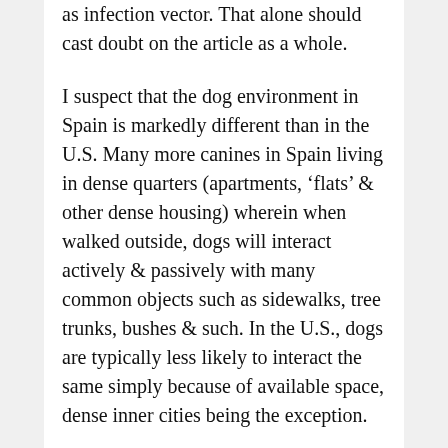as infection vector. That alone should cast doubt on the article as a whole.
I suspect that the dog environment in Spain is markedly different than in the U.S. Many more canines in Spain living in dense quarters (apartments, 'flats' & other dense housing) wherein when walked outside, dogs will interact actively & passively with many common objects such as sidewalks, tree trunks, bushes & such. In the U.S., dogs are typically less likely to interact the same simply because of available space, dense inner cities being the exception.
Any true dog lover with even a modicum of intelligence will read this article, file it away as an item of interesting...